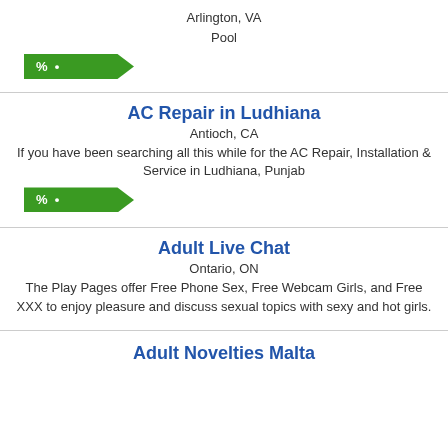Arlington, VA
Pool
[Figure (other): Green tag badge with % symbol and dot]
AC Repair in Ludhiana
Antioch, CA
If you have been searching all this while for the AC Repair, Installation & Service in Ludhiana, Punjab
[Figure (other): Green tag badge with % symbol and dot]
Adult Live Chat
Ontario, ON
The Play Pages offer Free Phone Sex, Free Webcam Girls, and Free XXX to enjoy pleasure and discuss sexual topics with sexy and hot girls.
Adult Novelties Malta